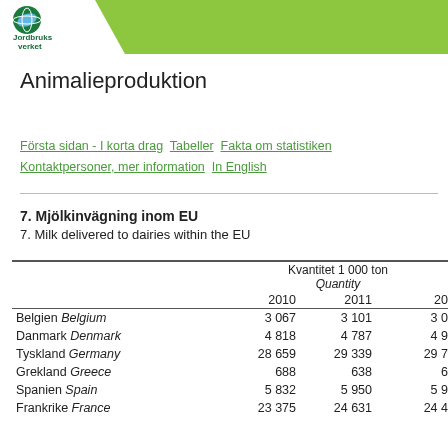Jordbruksverket
Animalieproduktion
Första sidan - I korta drag  Tabeller  Fakta om statistiken  Kontaktpersoner, mer information  In English
7. Mjölkinvägning inom EU
7. Milk delivered to dairies within the EU
|  | Kvantitet 1 000 ton / Quantity
2010 | Kvantitet 1 000 ton / Quantity
2011 | Kvantitet 1 000 ton / Quantity
20... |
| --- | --- | --- | --- |
| Belgien Belgium | 3 067 | 3 101 | 3 0… |
| Danmark Denmark | 4 818 | 4 787 | 4 9… |
| Tyskland Germany | 28 659 | 29 339 | 29 7… |
| Grekland Greece | 688 | 638 | 6… |
| Spanien Spain | 5 832 | 5 950 | 5 9… |
| Frankrike France | 23 375 | 24 631 | 24 4… |